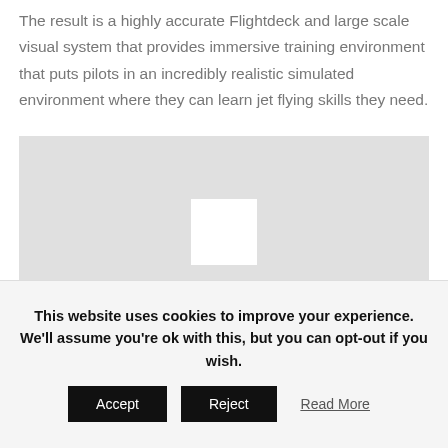The result is a highly accurate Flightdeck and large scale visual system that provides immersive training environment that puts pilots in an incredibly realistic simulated environment where they can learn jet flying skills they need.
[Figure (photo): A gray rectangular image placeholder with a white square centered within it, representing a video or image embed area.]
This website uses cookies to improve your experience. We'll assume you're ok with this, but you can opt-out if you wish.
Accept
Reject
Read More